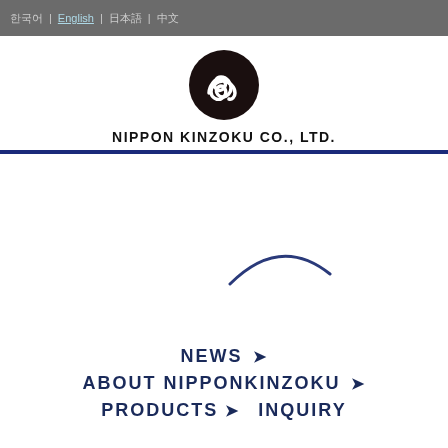한국어 | English | 日本語 | 中文
[Figure (logo): Nippon Kinzoku Co., Ltd. logo — white ribbon/infinity symbol inside a dark brown circle, with company name below in bold sans-serif]
[Figure (illustration): Partial blue arc/curve graphic, loading or decorative element in center of main content area]
NEWS ❯
ABOUT NIPPONKINZOKU ❯
PRODUCTS ❯  INQUIRY